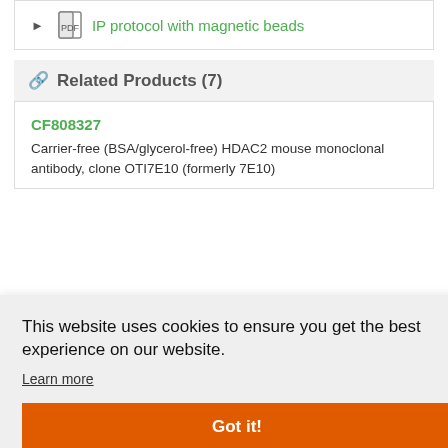IP protocol with magnetic beads
Related Products (7)
CF808327
Carrier-free (BSA/glycerol-free) HDAC2 mouse monoclonal antibody, clone OTI7E10 (formerly 7E10)
This website uses cookies to ensure you get the best experience on our website.
Learn more
Got it!